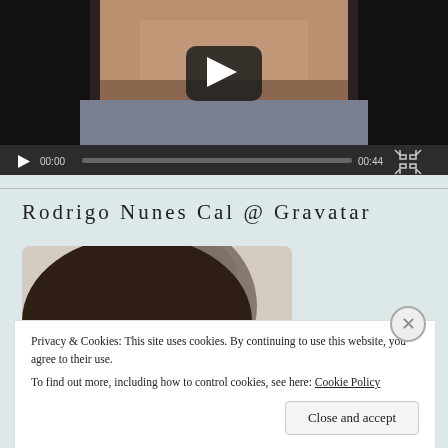[Figure (screenshot): Video player showing a man wearing a grey shirt, with a play button overlay. Controls bar shows 00:00 on the left and 00:44 on the right with a progress bar and fullscreen button.]
Rodrigo Nunes Cal @ Gravatar
[Figure (photo): Partial profile photo showing the back/top of a person's head with dark hair.]
Privacy & Cookies: This site uses cookies. By continuing to use this website, you agree to their use.
To find out more, including how to control cookies, see here: Cookie Policy
Close and accept